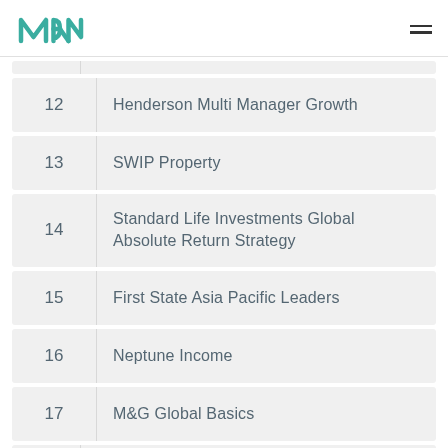MRM logo and navigation menu
12  Henderson Multi Manager Growth
13  SWIP Property
14  Standard Life Investments Global Absolute Return Strategy
15  First State Asia Pacific Leaders
16  Neptune Income
17  M&G Global Basics